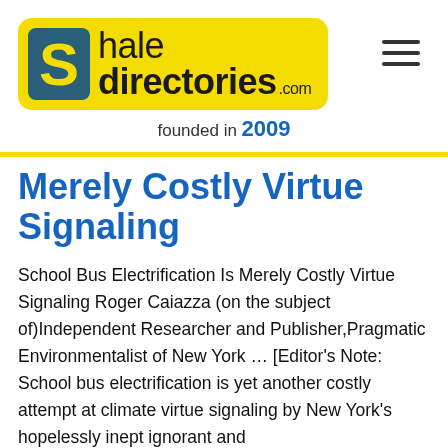[Figure (logo): SHALEdirectories.com logo on yellow rounded rectangle banner with S icon]
founded in 2009
Merely Costly Virtue Signaling
School Bus Electrification Is Merely Costly Virtue Signaling Roger Caiazza (on the subject of)Independent Researcher and Publisher,Pragmatic Environmentalist of New York … [Editor's Note: School bus electrification is yet another costly attempt at climate virtue signaling by New York's hopelessly inept ignorant and